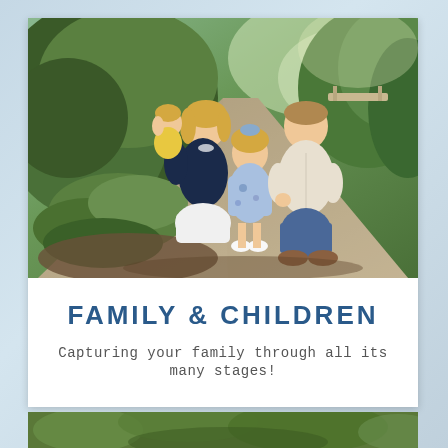[Figure (photo): A family of four posing outdoors on a garden path. A woman in dark clothing holds a baby in yellow, a young girl in a blue floral dress stands between the parents, and a man in a white shirt kneels beside them. Lush green foliage and a tree-lined path are visible in the background.]
FAMILY & CHILDREN
Capturing your family through all its many stages!
[Figure (photo): Partial view of an outdoor scene with green trees, visible at the bottom of the page.]